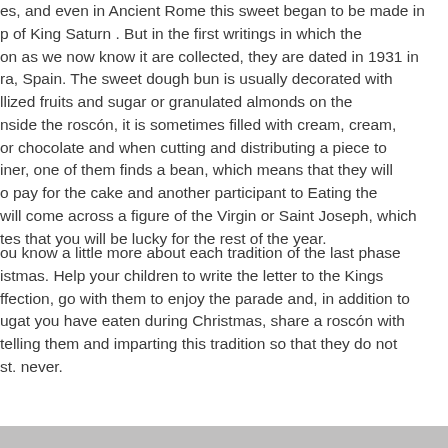es, and even in Ancient Rome this sweet began to be made in p of King Saturn . But in the first writings in which the on as we now know it are collected, they are dated in 1931 in ra, Spain. The sweet dough bun is usually decorated with llized fruits and sugar or granulated almonds on the nside the roscón, it is sometimes filled with cream, cream, or chocolate and when cutting and distributing a piece to iner, one of them finds a bean, which means that they will o pay for the cake and another participant to Eating the will come across a figure of the Virgin or Saint Joseph, which tes that you will be lucky for the rest of the year.
ou know a little more about each tradition of the last phase istmas. Help your children to write the letter to the Kings ffection, go with them to enjoy the parade and, in addition to ugat you have eaten during Christmas, share a roscón with telling them and imparting this tradition so that they do not st. never.